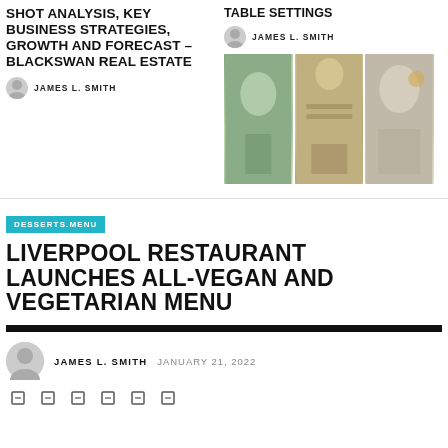SHOT ANALYSIS, KEY BUSINESS STRATEGIES, GROWTH AND FORECAST – BLACKSWAN REAL ESTATE
JAMES L. SMITH
TABLE SETTINGS
JAMES L. SMITH
[Figure (photo): Three-panel photo collage of elegant table settings with chandeliers and formal dining arrangements]
DESSERTS.MENU
LIVERPOOL RESTAURANT LAUNCHES ALL-VEGAN AND VEGETARIAN MENU
JAMES L. SMITH  JANUARY 21, 2022